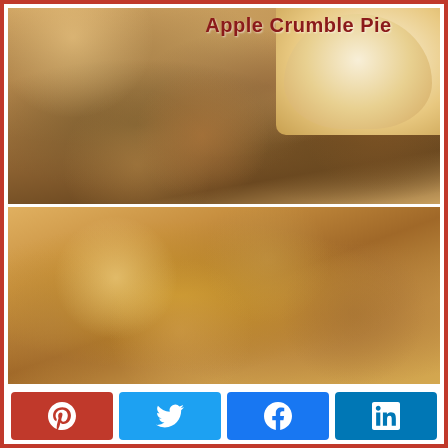[Figure (photo): Two food photos of Apple Crumble Pie. Top photo shows a close-up slice of apple crumble pie with brown crumble topping, layered apple filling, and pastry crust, with a small inset of pie with ice cream in upper right. Bottom photo shows a full apple crumble pie in a round pie dish viewed from slight angle, with golden-brown crumble topping.]
Apple Crumble Pie
[Figure (infographic): Social sharing buttons row: Pinterest (red), Twitter (blue), Facebook (blue), LinkedIn (blue)]